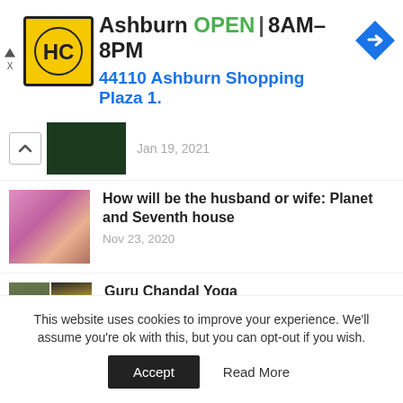[Figure (infographic): HC store ad banner: HC logo in yellow box, text Ashburn OPEN 8AM-8PM, 44110 Ashburn Shopping Plaza 1., navigation arrow icon]
Jan 19, 2021
How will be the husband or wife: Planet and Seventh house
Nov 23, 2020
Guru Chandal Yoga
Oct 22, 2020
Inter religion or Inter caste marriage and Rahu Ketu
This website uses cookies to improve your experience. We'll assume you're ok with this, but you can opt-out if you wish.
Accept   Read More